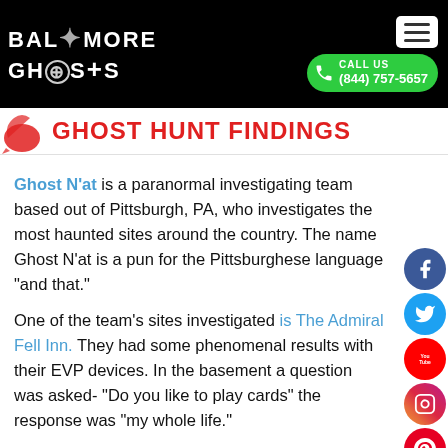BALTIMORE GHOSTS | CALL US (844) 757-5657
GHOST HUNT FINDINGS
Ghost N'at is a paranormal investigating team based out of Pittsburgh, PA, who investigates the most haunted sites around the country. The name Ghost N'at is a pun for the Pittsburghese language "and that."
One of the team's sites investigated is The Admiral Fell Inn. They had some phenomenal results with their EVP devices. In the basement a question was asked- "Do you like to play cards" the response was "my whole life."